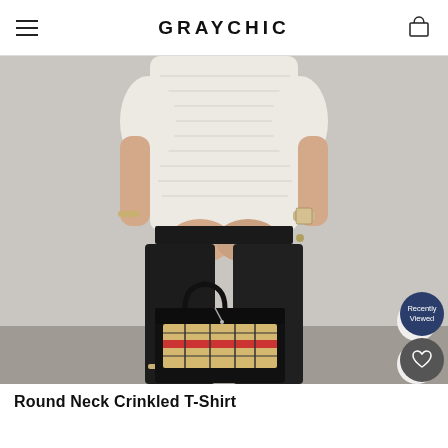GRAYCHIC
[Figure (photo): Fashion product photo of a model wearing a white crinkled round-neck short-sleeve top and black wide-leg trousers, holding a black leather tote bag with plaid pattern. Model is cropped at torso level. Background is light grey. Floating UI buttons on the right: up chevron, down chevron, Recently Viewed (navy), and heart/wishlist (dark).]
Round Neck Crinkled T-Shirt